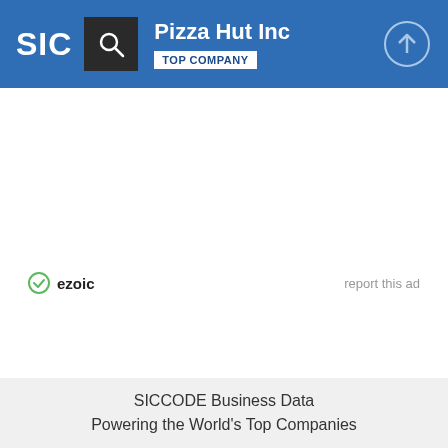SIC | Pizza Hut Inc | TOP COMPANY
[Figure (other): Ezoic ad placeholder area with ezoic logo and 'report this ad' link]
SICCODE Business Data
Powering the World's Top Companies